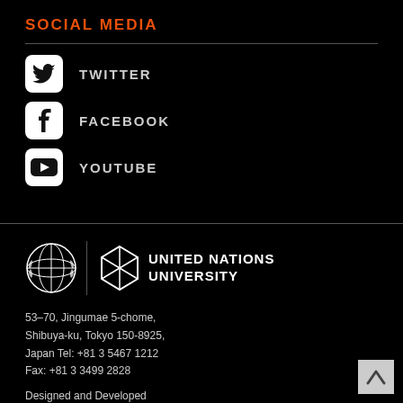SOCIAL MEDIA
TWITTER
FACEBOOK
YOUTUBE
[Figure (logo): United Nations logo (laurel wreath globe) and United Nations University logo with text]
53-70, Jingumae 5-chome, Shibuya-ku, Tokyo 150-8925, Japan Tel: +81 3 5467 1212 Fax: +81 3 3499 2828
Designed and Developed